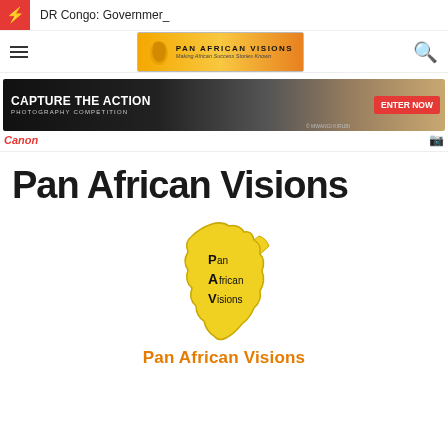DR Congo: Governmer_
[Figure (logo): Pan African Visions logo with Africa continent shape in yellow/orange gradient, text overlay]
[Figure (photo): Canon photography competition ad banner: CAPTURE THE ACTION PHOTOGRAPHY COMPETITION ENTER NOW - Mwangi Kirubi, showing rally car]
Canon
Pan African Visions
[Figure (logo): Pan African Visions logo: yellow Africa continent shape with PAV text overlay (Pan African Visions)]
Pan African Visions